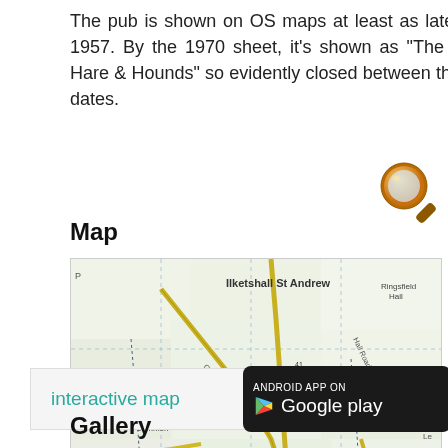The pub is shown on OS maps at least as late as 1957. By the 1970 sheet, it's shown as "The Old Hare & Hounds" so evidently closed between those dates.
[Figure (illustration): Orange magnifying glass icon]
Map
[Figure (map): OS map showing Ilketshall St Andrew area including Great Common, Dairy Farm, Great Common Farm, Moat Farm, Little Common, St Andrew's Hall, Peardyke Common, Godfrey's Common, Top Road, Water Tower, Hanna Barn Farm, Ringsfield Road, and surrounding fields and roads. A red marker is visible near center-right.]
interactive map
[Figure (logo): Android App on Google Play badge]
Gallery